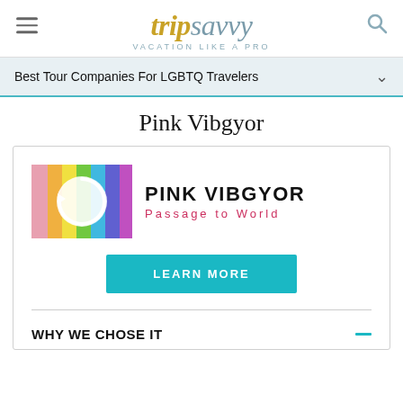tripsavvy VACATION LIKE A PRO
Best Tour Companies For LGBTQ Travelers
Pink Vibgyor
[Figure (logo): Pink Vibgyor logo: rainbow-striped square with circular arrow icon, text PINK VIBGYOR and tagline Passage to World]
LEARN MORE
WHY WE CHOSE IT